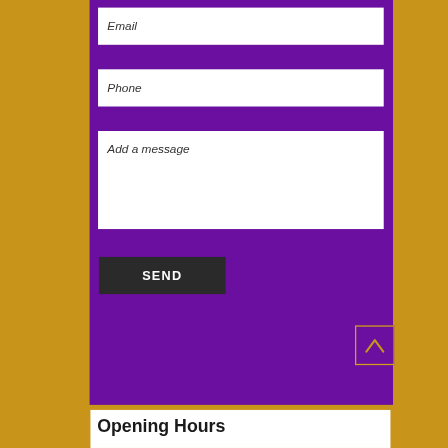Email
Phone
Add a message
SEND
[Figure (other): Back to top arrow button in purple with gold border]
Opening Hours